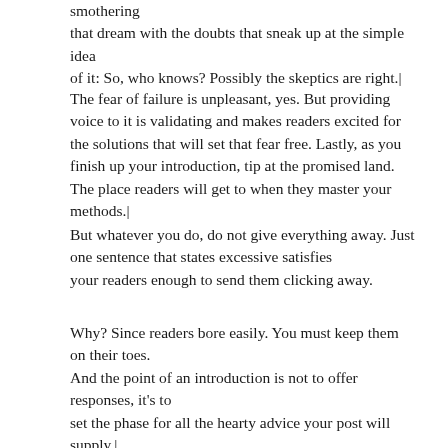smothering that dream with the doubts that sneak up at the simple idea of it: So, who knows? Possibly the skeptics are right.|
The fear of failure is unpleasant, yes. But providing voice to it is validating and makes readers excited for the solutions that will set that fear free. Lastly, as you finish up your introduction, tip at the promised land. The place readers will get to when they master your methods.|
But whatever you do, do not give everything away. Just one sentence that states excessive satisfies your readers enough to send them clicking away.
Why? Since readers bore easily. You must keep them on their toes. And the point of an introduction is not to offer responses, it's to set the phase for all the hearty advice your post will supply.|